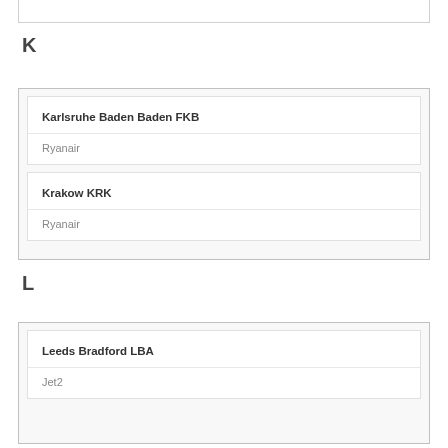K
| Karlsruhe Baden Baden FKB | Ryanair |
| Krakow KRK | Ryanair |
L
| Leeds Bradford LBA | Jet2 |